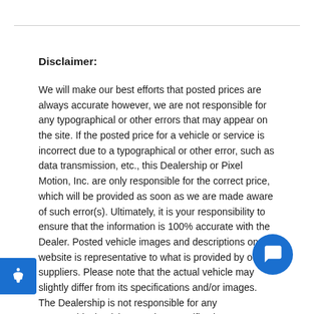Disclaimer:
We will make our best efforts that posted prices are always accurate however, we are not responsible for any typographical or other errors that may appear on the site. If the posted price for a vehicle or service is incorrect due to a typographical or other error, such as data transmission, etc., this Dealership or Pixel Motion, Inc. are only responsible for the correct price, which will be provided as soon as we are made aware of such error(s). Ultimately, it is your responsibility to ensure that the information is 100% accurate with the Dealer. Posted vehicle images and descriptions on our website is representative to what is provided by our suppliers. Please note that the actual vehicle may slightly differ from its specifications and/or images. The Dealership is not responsible for any typographical, pricing, product specifications, advertising or shipping errors. Advertised